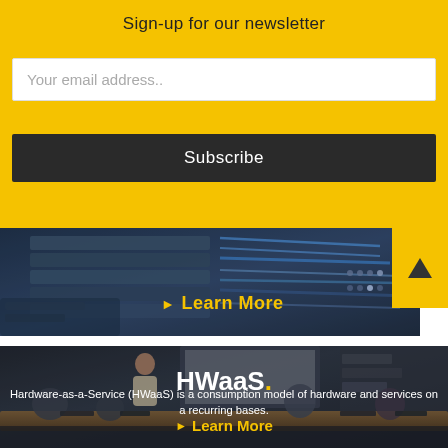Sign-up for our newsletter
Your email address..
Subscribe
[Figure (photo): Close-up of network server hardware with cables and ports, dark blue tones]
Learn More
[Figure (photo): Business meeting room scene with presenter at screen and attendees with laptops, dark toned]
HWaaS.
Hardware-as-a-Service (HWaaS) is a consumption model of hardware and services on a recurring bases.
Learn More